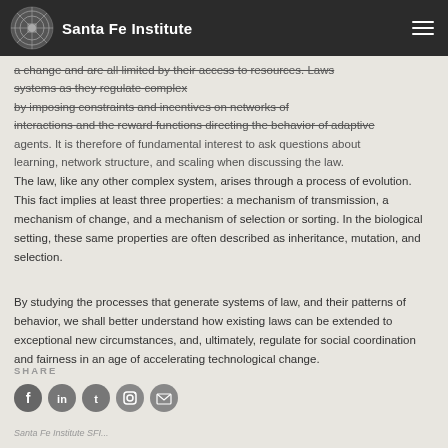Santa Fe Institute
a change and are all limited by their access to resources. Laws [strikethrough: systems as they regulate complex] [strikethrough: by imposing constraints and incentives on networks of] interactions and the reward functions directing the behavior of adaptive agents. It is therefore of fundamental interest to ask questions about learning, network structure, and scaling when discussing the law.
The law, like any other complex system, arises through a process of evolution. This fact implies at least three properties: a mechanism of transmission, a mechanism of change, and a mechanism of selection or sorting. In the biological setting, these same properties are often described as inheritance, mutation, and selection.
By studying the processes that generate systems of law, and their patterns of behavior, we shall better understand how existing laws can be extended to exceptional new circumstances, and, ultimately, regulate for social coordination and fairness in an age of accelerating technological change.
SHARE
[Figure (other): Social media share icons: Facebook, LinkedIn, Twitter, Instagram, Email]
Santa Fe Institute SFI...